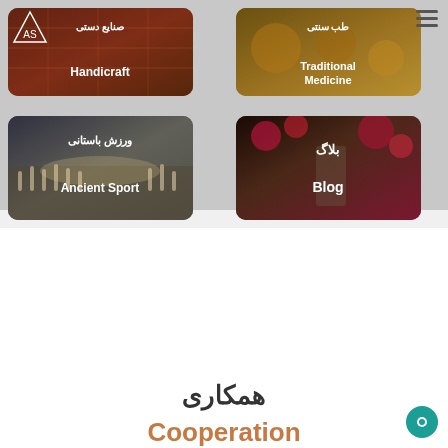[Figure (screenshot): Navigation card for Handicraft section showing Persian text صنایع دستی and English text Handicraft over a rug/textile background image]
[Figure (screenshot): Navigation card for Traditional Medicine section showing Persian text طب سنتی and English text Traditional Medicine over a spices background image]
[Figure (screenshot): Navigation card for Ancient Sport section showing Persian text ورزش باستانی and English text Ancient Sport over a crowd/wrestling background image]
[Figure (screenshot): Navigation card for Blog section showing Persian text بلاگ and English text Blog over a garden/flowers background image]
همکاری
Cooperation